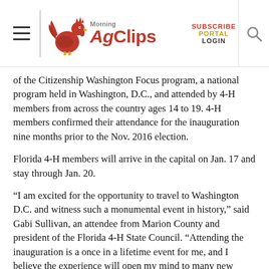Morning AgClips — SUBSCRIBE PORTAL LOGIN
of the Citizenship Washington Focus program, a national program held in Washington, D.C., and attended by 4-H members from across the country ages 14 to 19. 4-H members confirmed their attendance for the inauguration nine months prior to the Nov. 2016 election.
Florida 4-H members will arrive in the capital on Jan. 17 and stay through Jan. 20.
“I am excited for the opportunity to travel to Washington D.C. and witness such a monumental event in history,” said Gabi Sullivan, an attendee from Marion County and president of the Florida 4-H State Council. “Attending the inauguration is a once in a lifetime event for me, and I believe the experience will open my mind to many new ideas and people.”